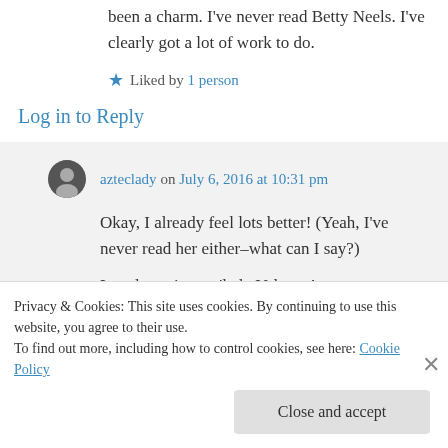been a charm. I've never read Betty Neels. I've clearly got a lot of work to do.
Liked by 1 person
Log in to Reply
azteclady on July 6, 2016 at 10:31 pm
Okay, I already feel lots better! (Yeah, I've never read her either–what can I say?)
Lovely review, m'lady Valancy!
Privacy & Cookies: This site uses cookies. By continuing to use this website, you agree to their use.
To find out more, including how to control cookies, see here: Cookie Policy
Close and accept